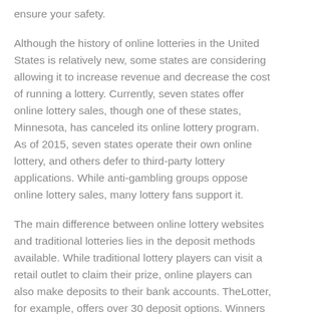ensure your safety.
Although the history of online lotteries in the United States is relatively new, some states are considering allowing it to increase revenue and decrease the cost of running a lottery. Currently, seven states offer online lottery sales, though one of these states, Minnesota, has canceled its online lottery program. As of 2015, seven states operate their own online lottery, and others defer to third-party lottery applications. While anti-gambling groups oppose online lottery sales, many lottery fans support it.
The main difference between online lottery websites and traditional lotteries lies in the deposit methods available. While traditional lottery players can visit a retail outlet to claim their prize, online players can also make deposits to their bank accounts. TheLotter, for example, offers over 30 deposit options. Winners will be notified via email, SMS, direct deposit, or in person. However, if you win a large prize, you'll have to go